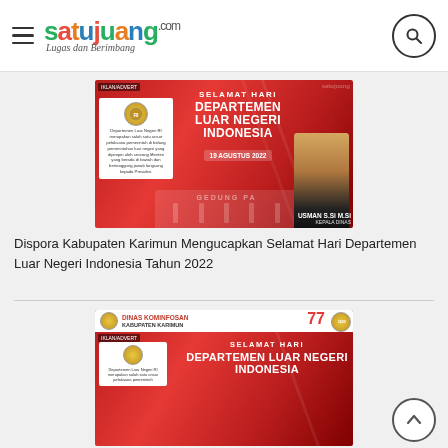satujuang.com — Lugas dan Berimbang
[Figure (photo): Dispora Kabupaten Karimun congratulatory banner for Hari Departemen Luar Negeri Indonesia 19 Agustus 2022, featuring Kepala Dinas Usman S.Si M.Si]
Dispora Kabupaten Karimun Mengucapkan Selamat Hari Departemen Luar Negeri Indonesia Tahun 2022
[Figure (photo): Dinas Kominfosan Kabupaten Karimun congratulatory banner for Hari Departemen Luar Negeri Indonesia, with 77th anniversary motif]